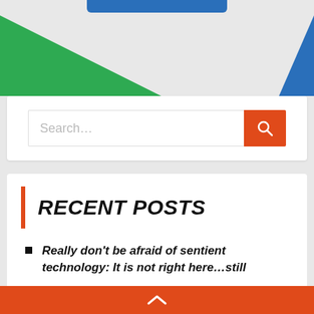[Figure (screenshot): Top navigation button partially visible, blue rounded rectangle]
[Figure (illustration): Decorative section with green triangle on left and blue triangle on right corner]
[Figure (screenshot): Search bar with orange search button showing search icon]
RECENT POSTS
Really don't be afraid of sentient technology: It is not right here…still
^